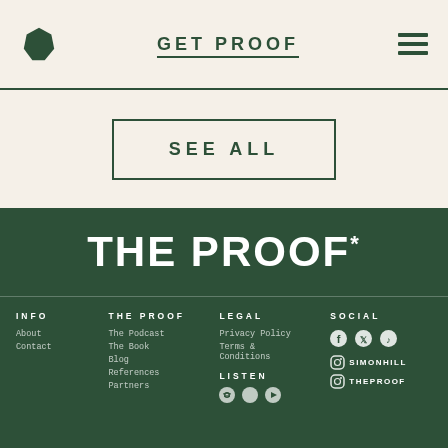GET PROOF
SEE ALL
THE PROOF*
INFO — About, Contact
THE PROOF — The Podcast, The Book, Blog, References, Partners
LEGAL — Privacy Policy, Terms & Conditions
LISTEN
SOCIAL — SIMONHILL, THEPROOF